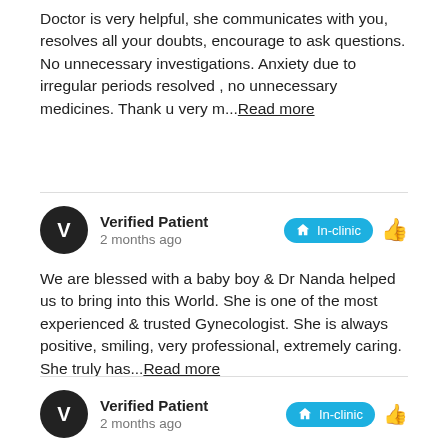Doctor is very helpful, she communicates with you, resolves all your doubts, encourage to ask questions. No unnecessary investigations. Anxiety due to irregular periods resolved , no unnecessary medicines. Thank u very m...Read more
Verified Patient
2 months ago
In-clinic
We are blessed with a baby boy & Dr Nanda helped us to bring into this World. She is one of the most experienced & trusted Gynecologist. She is always positive, smiling, very professional, extremely caring. She truly has...Read more
Verified Patient
2 months ago
In-clinic
Visited for Mirena (Hormonal Iud)
Visited for heavy bleeding pv and adenomyosis